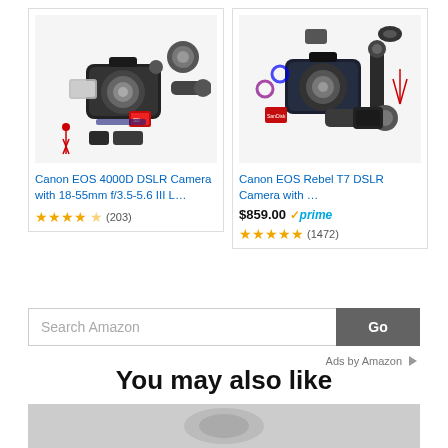[Figure (screenshot): Amazon ad card: Canon EOS 4000D DSLR Camera with 18-55mm f/3.5-5.6 III L... product image showing camera kit with accessories, rated 4.5 stars (203 reviews)]
[Figure (screenshot): Amazon ad card: Canon EOS Rebel T7 DSLR Camera with ... product image showing camera kit with accessories, priced at $859.00 with Prime, rated 4.5 stars (1472 reviews)]
Search Amazon
Go
Ads by Amazon
You may also like
[Figure (photo): Partial bottom image, cropped]